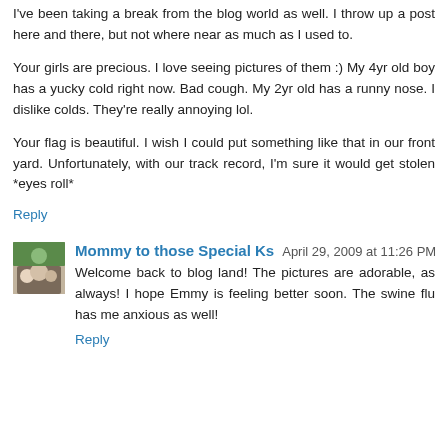I've been taking a break from the blog world as well. I throw up a post here and there, but not where near as much as I used to.
Your girls are precious. I love seeing pictures of them :) My 4yr old boy has a yucky cold right now. Bad cough. My 2yr old has a runny nose. I dislike colds. They're really annoying lol.
Your flag is beautiful. I wish I could put something like that in our front yard. Unfortunately, with our track record, I'm sure it would get stolen *eyes roll*
Reply
Mommy to those Special Ks   April 29, 2009 at 11:26 PM
Welcome back to blog land! The pictures are adorable, as always! I hope Emmy is feeling better soon. The swine flu has me anxious as well!
Reply